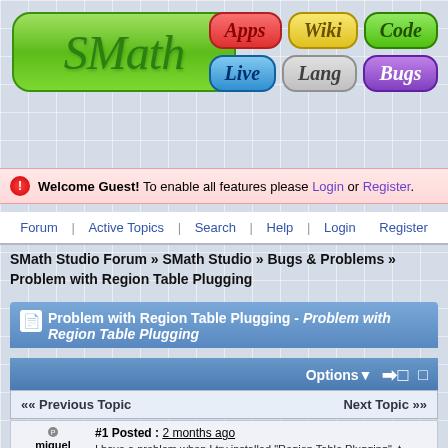[Figure (logo): SMath Studio logo - green rounded rectangle with italic SMath text]
[Figure (infographic): Navigation buttons: Apps (red), Wiki (yellow), Code (green), Live (blue), Lang (gray), Bugs (purple)]
Welcome Guest! To enable all features please Login or Register.
Forum | Active Topics | Search | Help | Login | Register
SMath Studio Forum » SMath Studio » Bugs & Problems » Problem with Region Table Plugging
Problem with Region Table Plugging - Problem with Region Table Plugging
Options ▾  ➡□  □
«« Previous Topic    Next Topic »»
miguel sambrano ▾
#1 Posted : 2 months ago
I have a problem when I try installed "Region Table Plugging", the installations". The next imagines show the problem. My Smath S... 1.0.8151.26392.
S  Dependencias